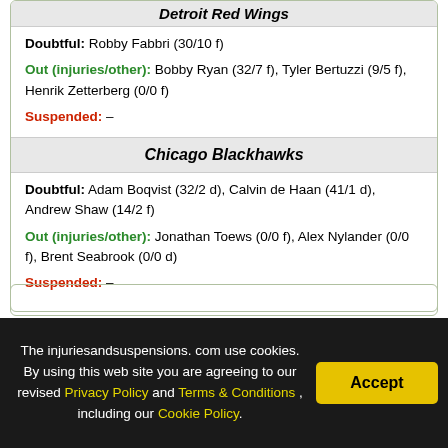Detroit Red Wings
Doubtful: Robby Fabbri (30/10 f)
Out (injuries/other): Bobby Ryan (32/7 f), Tyler Bertuzzi (9/5 f), Henrik Zetterberg (0/0 f)
Suspended: –
Chicago Blackhawks
Doubtful: Adam Boqvist (32/2 d), Calvin de Haan (41/1 d), Andrew Shaw (14/2 f)
Out (injuries/other): Jonathan Toews (0/0 f), Alex Nylander (0/0 f), Brent Seabrook (0/0 d)
Suspended: –
The injuriesandsuspensions.com use cookies. By using this web site you are agreeing to our revised Privacy Policy and Terms & Conditions , including our Cookie Policy.